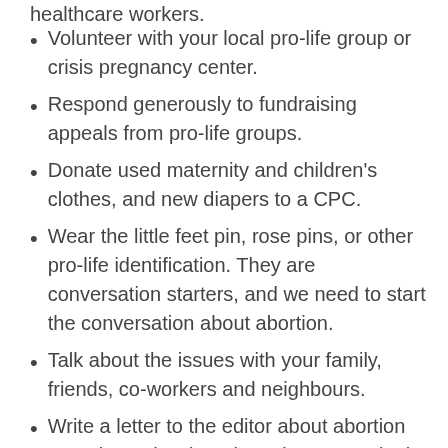healthcare workers.
Volunteer with your local pro-life group or crisis pregnancy center.
Respond generously to fundraising appeals from pro-life groups.
Donate used maternity and children's clothes, and new diapers to a CPC.
Wear the little feet pin, rose pins, or other pro-life identification. They are conversation starters, and we need to start the conversation about abortion.
Talk about the issues with your family, friends, co-workers and neighbours.
Write a letter to the editor about abortion or euthanasia when these issues are in the news.
Call in to talk radio programs when life issues